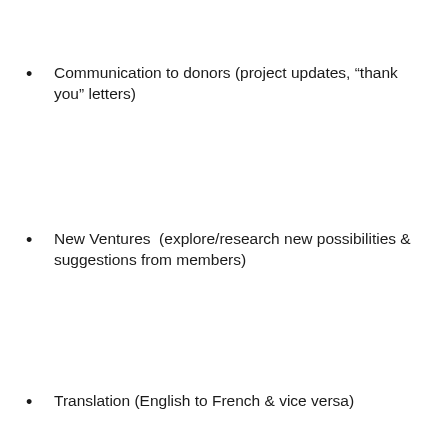Communication to donors (project updates, “thank you” letters)
New Ventures  (explore/research new possibilities & suggestions from members)
Translation (English to French & vice versa)